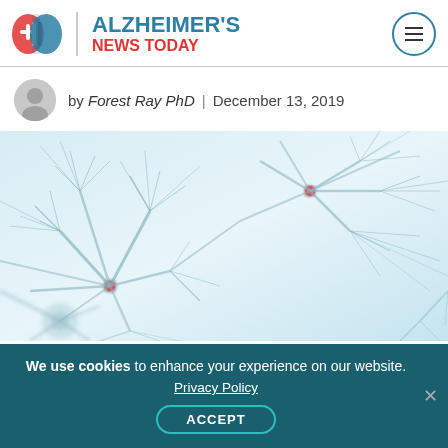[Figure (logo): Alzheimer's News Today logo with brain icon in red and blue, site name in blue and red text, hamburger menu icon in circle on right]
by Forest Ray PhD | December 13, 2019
[Figure (photo): Close-up 3D rendering of neurons with branching dendrites on a light blue background, with red highlighted connection points]
We use cookies to enhance your experience on our website. Privacy Policy ACCEPT